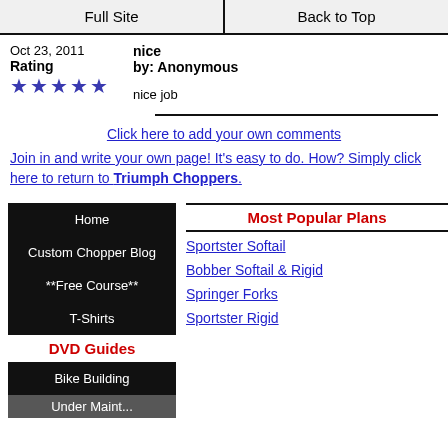Full Site | Back to Top
Oct 23, 2011  nice
Rating  by: Anonymous
★★★★★
nice job
Click here to add your own comments
Join in and write your own page! It's easy to do. How? Simply click here to return to Triumph Choppers.
Most Popular Plans
Home
Custom Chopper Blog
**Free Course**
T-Shirts
DVD Guides
Bike Building
Sportster Softail
Bobber Softail & Rigid
Springer Forks
Sportster Rigid